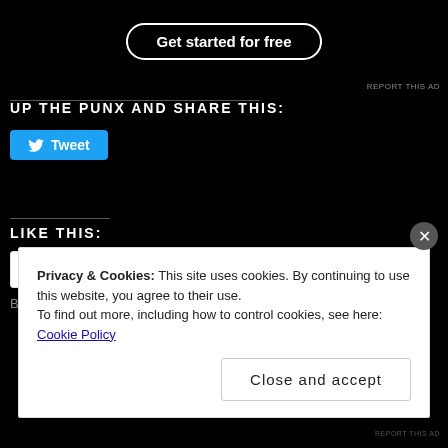[Figure (screenshot): Dark background with 'Get started for free' button with rounded border]
REPORT THIS AD
UP THE PUNX AND SHARE THIS:
[Figure (screenshot): Twitter Tweet button in blue]
LIKE THIS:
[Figure (screenshot): WordPress Like button with blue star]
Be the first to like this.
Privacy & Cookies: This site uses cookies. By continuing to use this website, you agree to their use.
To find out more, including how to control cookies, see here: Cookie Policy
Close and accept